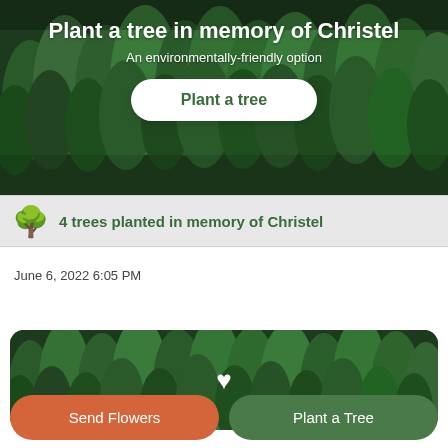[Figure (photo): Aerial view of dense green forest used as hero banner background]
Plant a tree in memory of Christel
An environmentally-friendly option
Plant a tree
4 trees planted in memory of Christel
June 6, 2022 6:05 PM
[Figure (photo): Aerial view of dense green forest as second banner with white heart icon overlay]
Send Flowers
Plant a Tree